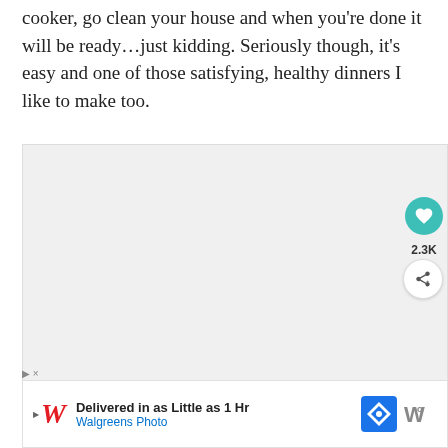cooker, go clean your house and when you're done it will be ready…just kidding. Seriously though, it's easy and one of those satisfying, healthy dinners I like to make too.
[Figure (photo): Large light gray image placeholder area with social interaction buttons (heart/like button showing 2.3K likes, share button) and a 'What's Next' card showing 'Lightened Up Creamy...' with a thumbnail of a bowl of food]
[Figure (screenshot): Advertisement bar: Walgreens Photo ad reading 'Delivered in as Little as 1 Hr' with Walgreens logo, navigation icon, and app icon]